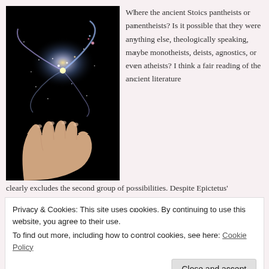[Figure (photo): A human hand with palm open upward, holding a spiral galaxy above it against a black background.]
Where the ancient Stoics pantheists or panentheists? Is it possible that they were anything else, theologically speaking, maybe monotheists, deists, agnostics, or even atheists? I think a fair reading of the ancient literature
clearly excludes the second group of possibilities. Despite Epictetus'
Privacy & Cookies: This site uses cookies. By continuing to use this website, you agree to their use.
To find out more, including how to control cookies, see here: Cookie Policy
Close and accept